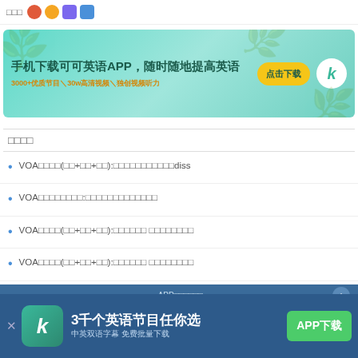□□□ [icons]
[Figure (screenshot): App download banner: 手机下载可可英语APP，随时随地提高英语 3000+优质节目＼30w高清视频＼独创视频听力 点击下载]
□□□□
VOA□□□□(□□+□□+□□):□□□□□□□□□□□diss
VOA□□□□□□□□:□□□□□□□□□□□□□
VOA□□□□(□□+□□+□□):□□□□□□ □□□□□□□□
VOA□□□□(□□+□□+□□):□□□□□□ □□□□□□□□
[Figure (screenshot): Bottom ad bar: 3千个英语节目任你选 中英双语字幕 免费批量下载 APP下载]